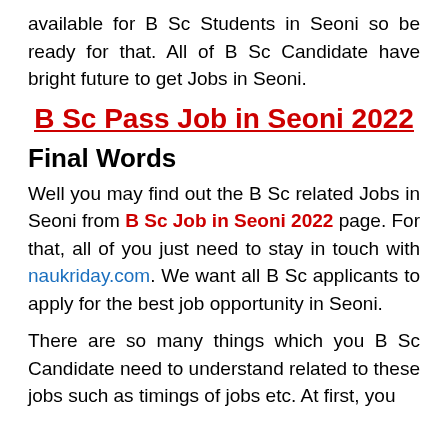available for B Sc Students in Seoni so be ready for that. All of B Sc Candidate have bright future to get Jobs in Seoni.
B Sc Pass Job in Seoni 2022
Final Words
Well you may find out the B Sc related Jobs in Seoni from B Sc Job in Seoni 2022 page. For that, all of you just need to stay in touch with naukriday.com. We want all B Sc applicants to apply for the best job opportunity in Seoni.
There are so many things which you B Sc Candidate need to understand related to these jobs such as timings of jobs etc. At first, you